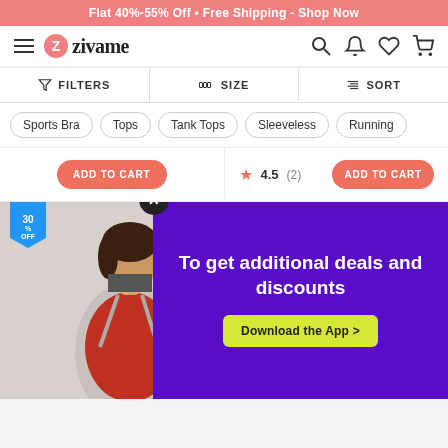Flat 40%-55% Off + Free Shipping - Shop Now
[Figure (screenshot): Zivame e-commerce website header with logo, hamburger menu, search, notification, wishlist, and cart icons]
FILTERS   SIZE   SORT
Sports Bra
Tops
Tank Tops
Sleeveless
Running
ADD TO CART
4.5 (2)
ADD TO CART
[Figure (photo): Woman in red sports bra top, 30% OFF badge]
[Figure (photo): Woman in dark sportswear, 50% OFF badge]
To get additional deals and discounts
Download the App >